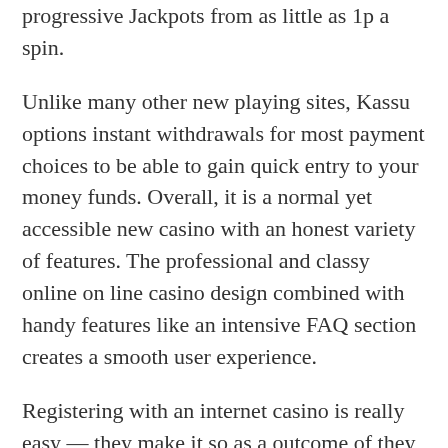progressive Jackpots from as little as 1p a spin.
Unlike many other new playing sites, Kassu options instant withdrawals for most payment choices to be able to gain quick entry to your money funds. Overall, it is a normal yet accessible new casino with an honest variety of features. The professional and classy online on line casino design combined with handy features like an intensive FAQ section creates a smooth user experience.
Registering with an internet casino is really easy — they make it so as a outcome of they want you to search out it simple to enroll and play their video games. All you want to do is choose the “sign up” option and then observe the directions the location gives you. The most popular on-line casino sport, with some sites offering thousands of titles. A good on-line casino evaluation will answer all these questions and extra. Ours go above and beyond what you'll find at